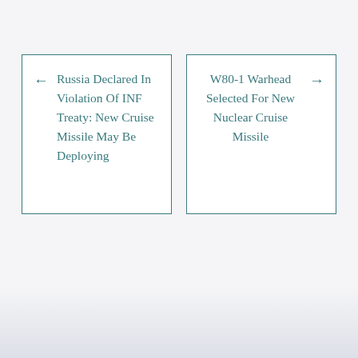← Russia Declared In Violation Of INF Treaty: New Cruise Missile May Be Deploying
W80-1 Warhead Selected For New Nuclear Cruise Missile →